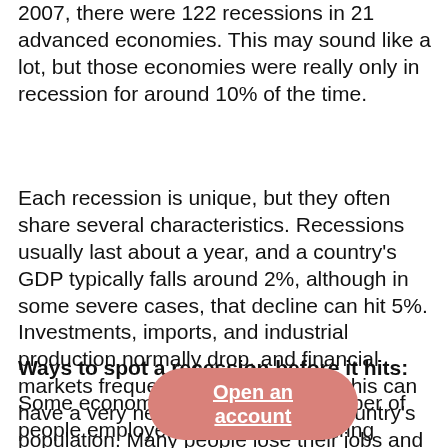2007, there were 122 recessions in 21 advanced economies. This may sound like a lot, but those economies were really only in recession for around 10% of the time.
Each recession is unique, but they often share several characteristics. Recessions usually last about a year, and a country's GDP typically falls around 2%, although in some severe cases, that decline can hit 5%. Investments, imports, and industrial production normally drop, and financial markets frequently face turmoil. All this can have a very negative impact on a country's population. Many people lose their jobs and if they can't afford their mortgages, they lose their homes and house prices drop. They also have less money to spend in shops and restaurants. That means businesses make less money, and many go bankrupt.
Ways to spot a recession before it hits:
Some economists focus on the number of people employed in the manufacturing sector. In the world of manufacturing booked months in advance. When a factory get fewer orders, they will stop hiring new workers and